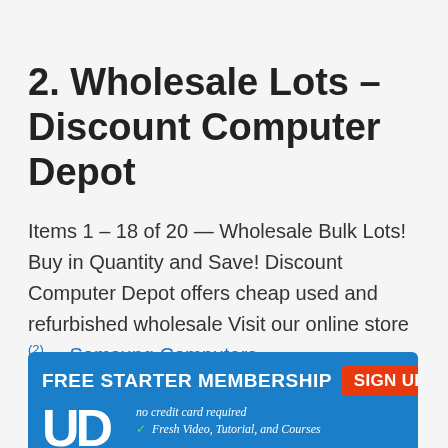2. Wholesale Lots – Discount Computer Depot
Items 1 – 18 of 20 — Wholesale Bulk Lots! Buy in Quantity and Save! Discount Computer Depot offers cheap used and refurbished wholesale Visit our online store (2)... Samsung Computers
[Figure (infographic): Advertisement banner: FREE STARTER MEMBERSHIP with SIGN UP NOW button, no credit card required, Fresh Video, Tutorial, and Courses, with partial logo letters 'U D' visible]